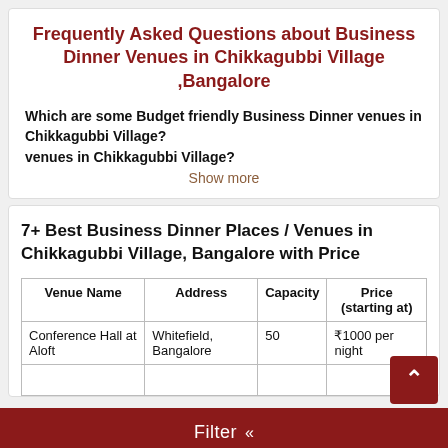Frequently Asked Questions about Business Dinner Venues in Chikkagubbi Village ,Bangalore
Which are some Budget friendly Business Dinner venues in Chikkagubbi Village?
Show more
7+ Best Business Dinner Places / Venues in Chikkagubbi Village, Bangalore with Price
| Venue Name | Address | Capacity | Price (starting at) |
| --- | --- | --- | --- |
| Conference Hall at Aloft | Whitefield, Bangalore | 50 | ₹1000 per night |
Filter